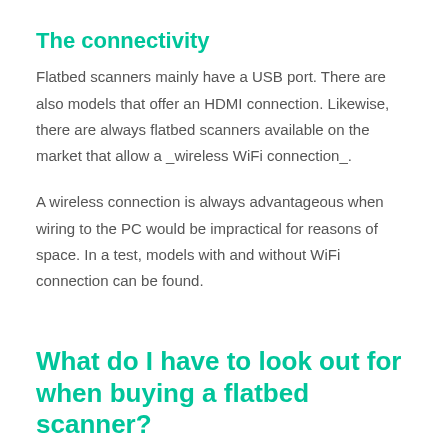The connectivity
Flatbed scanners mainly have a USB port. There are also models that offer an HDMI connection. Likewise, there are always flatbed scanners available on the market that allow a _wireless WiFi connection_.
A wireless connection is always advantageous when wiring to the PC would be impractical for reasons of space. In a test, models with and without WiFi connection can be found.
What do I have to look out for when buying a flatbed scanner?